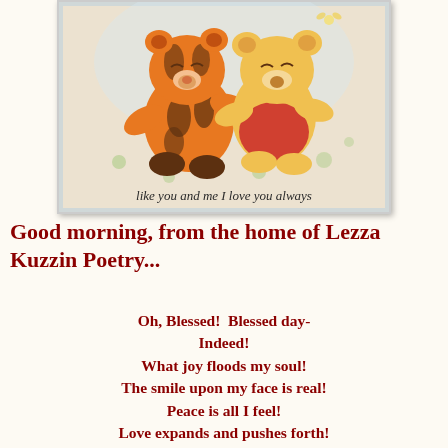[Figure (illustration): Cartoon illustration of baby Tigger and baby Winnie the Pooh hugging each other on a light blue/cream background with green polka dots. Text at bottom reads 'like you and me I love you always' in dark script.]
Good morning, from the home of Lezza Kuzzin Poetry...
Oh, Blessed!  Blessed day-
Indeed!
What joy floods my soul!
The smile upon my face is real!
Peace is all I feel!
Love expands and pushes forth!